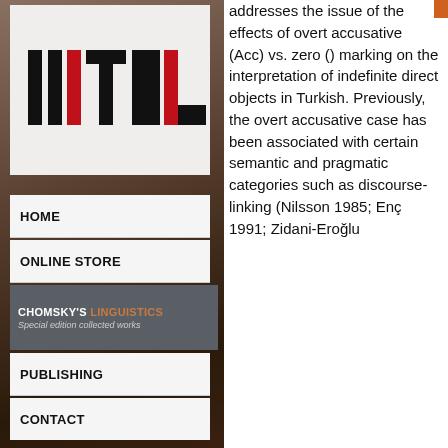[Figure (logo): Mithat logo with stylized letters in black and red on white background]
HOME
ONLINE STORE
CHOMSKY'S LINGUISTICS
Special edition collected works
PUBLISHING
CONTACT
addresses the issue of the effects of overt accusative (Acc) vs. zero () marking on the interpretation of indefinite direct objects in Turkish. Previously, the overt accusative case has been associated with certain semantic and pragmatic categories such as discourse-linking (Nilsson 1985; Enç 1991; Zidani-Eroğlu